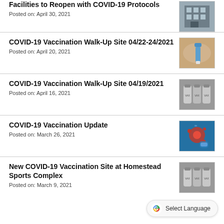Facilities to Reopen with COVID-19 Protocols
Posted on: April 30, 2021
COVID-19 Vaccination Walk-Up Site 04/22-24/2021
Posted on: April 20, 2021
COVID-19 Vaccination Walk-Up Site 04/19/2021
Posted on: April 16, 2021
COVID-19 Vaccination Update
Posted on: March 26, 2021
New COVID-19 Vaccination Site at Homestead Sports Complex
Posted on: March 9, 2021